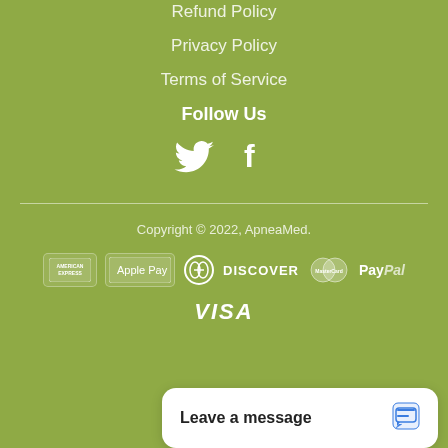Refund Policy
Privacy Policy
Terms of Service
Follow Us
[Figure (illustration): Twitter and Facebook social media icons in white]
Copyright © 2022, ApneaMed.
[Figure (other): Payment method logos: American Express, Apple Pay, Diners Club, Discover, MasterCard, PayPal, Visa]
Leave a message